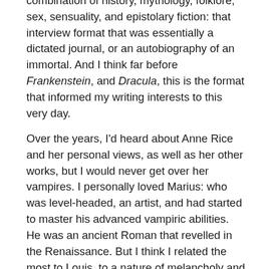combination of history, mythology, folklore, sex, sensuality, and epistolary fiction: that interview format that was essentially a dictated journal, or an autobiography of an immortal. And I think far before Frankenstein, and Dracula, this is the format that informed my writing interests to this very day.
Over the years, I'd heard about Anne Rice and her personal views, as well as her other works, but I would never get over her vampires. I personally loved Marius: who was level-headed, an artist, and had started to master his advanced vampiric abilities. He was an ancient Roman that revelled in the Renaissance. But I think I related the most to Louis, to a nature of melancholy and bitterness that nevertheless hid a spark of true, and